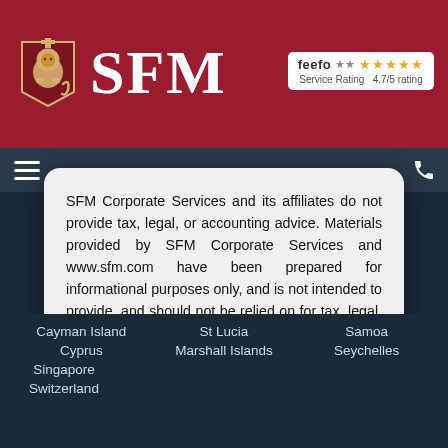[Figure (logo): SFM Corporate Services logo with lion shield emblem and red header bar, plus Feefo 4.7/5 rating badge]
SFM Corporate Services and its affiliates do not provide tax, legal, or accounting advice. Materials provided by SFM Corporate Services and www.sfm.com have been prepared for informational purposes only, and is not intended to provide, and should not be relied on for tax, legal, or accounting advice. You should consult your own tax, legal, or accounting advisor with regard to your own tax, legal, or accounting scenario.
I UNDERSTAND
Cayman Island
St Lucia
Samoa
Cyprus
Marshall Islands
Seychelles
Singapore
Switzerland